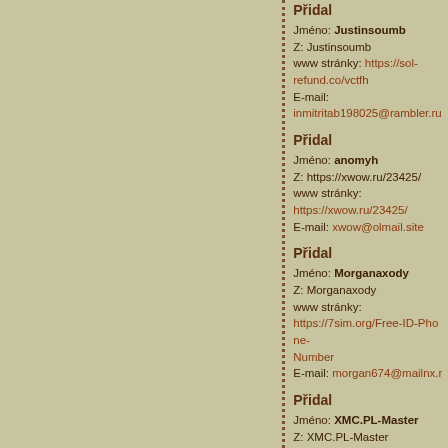Přidal
Jméno: Justinsoumb
Z: Justinsoumb
www stránky: https://sol-refund.co/vctfh
E-mail: inmitritab198025@rambler.ru
Přidal
Jméno: anomyh
Z: https://xwow.ru/23425/
www stránky: https://xwow.ru/23425/
E-mail: xwow@olmail.site
Přidal
Jméno: Morganaxody
Z: Morganaxody
www stránky: https://7sim.org/Free-ID-Phone-Number
E-mail: morgan674@mailnx.ru
Přidal
Jméno: XMC.PL-Master
Z: XMC.PL-Master
www stránky: https://www.m106.com
E-mail: stopwar@xmc.pl